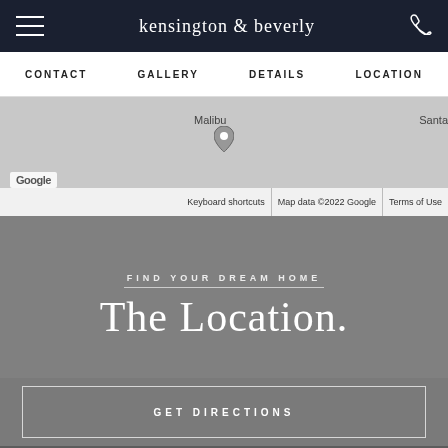kensington & beverly
CONTACT   GALLERY   DETAILS   LOCATION
[Figure (map): Google Maps partial view showing Malibu area with location pin, Santa Monica label partially visible on right. Map footer shows: Keyboard shortcuts | Map data ©2022 Google | Terms of Use]
FIND YOUR DREAM HOME
The Location.
GET DIRECTIONS